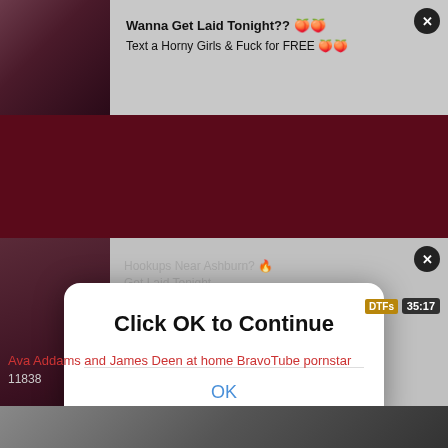[Figure (screenshot): Adult website screenshot showing two ad banners with close buttons, a modal dialog saying 'Click OK to Continue' with an OK button, a video thumbnail with duration badge '35:17', and a video title link 'Ava Addams and James Deen at home BravoTube pornstar' with view count 11838]
Wanna Get Laid Tonight?? 🍑🍑
Text a Horny Girls & Fuck for FREE 🍑🍑
Hookups Near Ashburn? 🔥
Get Laid Tonight...
Click OK to Continue
OK
35:17
Ava Addams and James Deen at home BravoTube pornstar
11838